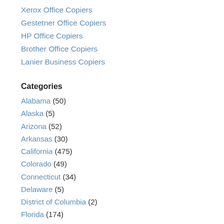Xerox Office Copiers
Gestetner Office Copiers
HP Office Copiers
Brother Office Copiers
Lanier Business Copiers
Categories
Alabama (50)
Alaska (5)
Arizona (52)
Arkansas (30)
California (475)
Colorado (49)
Connecticut (34)
Delaware (5)
District of Columbia (2)
Florida (174)
Georgia (98)
Hawaii (2)
Idaho (20)
Illinois (291)